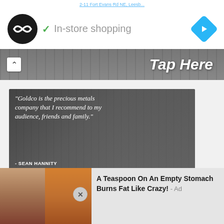2-11 Fort Evans Rd NE, Leesb...
[Figure (screenshot): Black circular logo with infinity/code symbol in white, and blue diamond navigation arrow icon on right]
✓ In-store shopping
[Figure (screenshot): Dark gray banner with caret/up arrow on left and 'Tap Here' text on right in white italic]
[Figure (photo): Goldco advertisement showing a man in a suit (Sean Hannity) with quote: 'Goldco is the precious metals company that I recommend to my audience, friends and family.' - SEAN HANNITY. Red button: REQUEST FREE KIT ›]
[Figure (photo): Bottom advertisement showing fitness/food images on left and text: 'A Teaspoon On An Empty Stomach Burns Fat Like Crazy! - Ad']